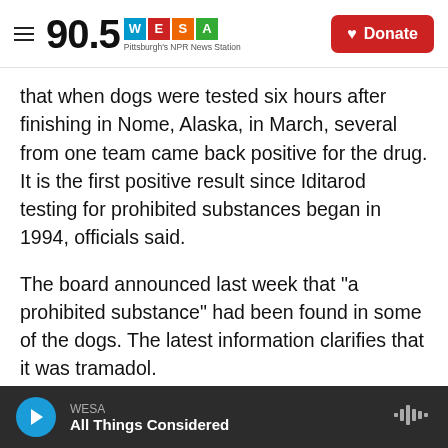90.5 WESA Pittsburgh's NPR News Station | Donate
that when dogs were tested six hours after finishing in Nome, Alaska, in March, several from one team came back positive for the drug. It is the first positive result since Iditarod testing for prohibited substances began in 1994, officials said.
The board announced last week that "a prohibited substance" had been found in some of the dogs. The latest information clarifies that it was tramadol.
The Associated Press reports that investigators estimate the drug could have been administered up
WESA | All Things Considered